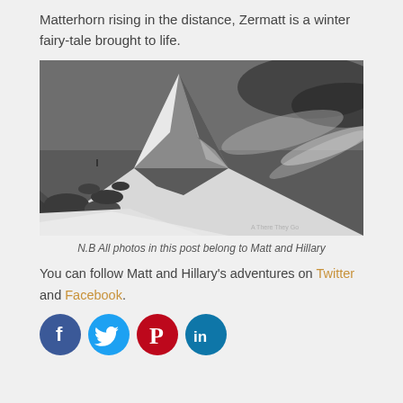Matterhorn rising in the distance, Zermatt is a winter fairy-tale brought to life.
[Figure (photo): Black and white dramatic photograph of the Matterhorn mountain peak covered in snow with cloud-streaked sky behind it. Watermark text reads 'A There They Go' in bottom right corner.]
N.B All photos in this post belong to Matt and Hillary
You can follow Matt and Hillary's adventures on Twitter and Facebook.
[Figure (illustration): Four social media icon circles: Facebook (dark blue with 'f'), Twitter (light blue with bird), Pinterest (red with 'P'), LinkedIn (teal with 'in')]